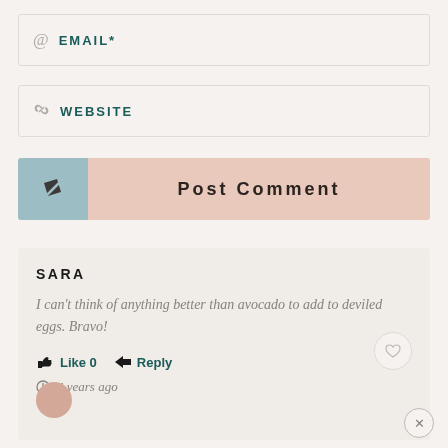@ EMAIL*
WEBSITE
Post Comment
SARA
I can't think of anything better than avocado to add to deviled eggs. Bravo!
Like 0   Reply
4 years ago